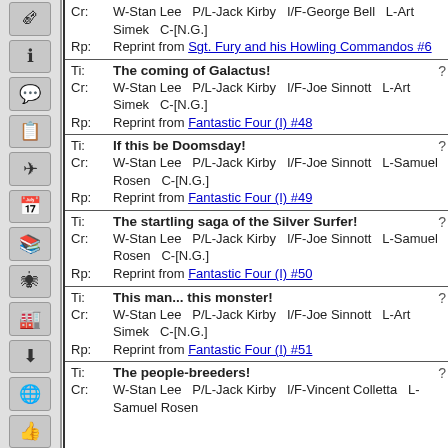| Cr: | W-Stan Lee   P/L-Jack Kirby   I/F-George Bell   L-Art Simek   C-[N.G.] |
| Rp: | Reprint from Sgt. Fury and his Howling Commandos #6 |
| Ti: | The coming of Galactus! |
| Cr: | W-Stan Lee   P/L-Jack Kirby   I/F-Joe Sinnott   L-Art Simek   C-[N.G.] |
| Rp: | Reprint from Fantastic Four (I) #48 |
| Ti: | If this be Doomsday! |
| Cr: | W-Stan Lee   P/L-Jack Kirby   I/F-Joe Sinnott   L-Samuel Rosen   C-[N.G.] |
| Rp: | Reprint from Fantastic Four (I) #49 |
| Ti: | The startling saga of the Silver Surfer! |
| Cr: | W-Stan Lee   P/L-Jack Kirby   I/F-Joe Sinnott   L-Samuel Rosen   C-[N.G.] |
| Rp: | Reprint from Fantastic Four (I) #50 |
| Ti: | This man... this monster! |
| Cr: | W-Stan Lee   P/L-Jack Kirby   I/F-Joe Sinnott   L-Art Simek   C-[N.G.] |
| Rp: | Reprint from Fantastic Four (I) #51 |
| Ti: | The people-breeders! |
| Cr: | W-Stan Lee   P/L-Jack Kirby   I/F-Vincent Colletta   L-Samuel Rosen |